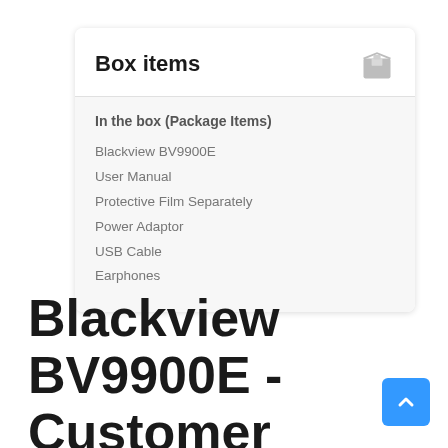Box items
In the box (Package Items)
Blackview BV9900E
User Manual
Protective Film Separately
Power Adaptor
USB Cable
Earphones
Blackview BV9900E - Customer Review